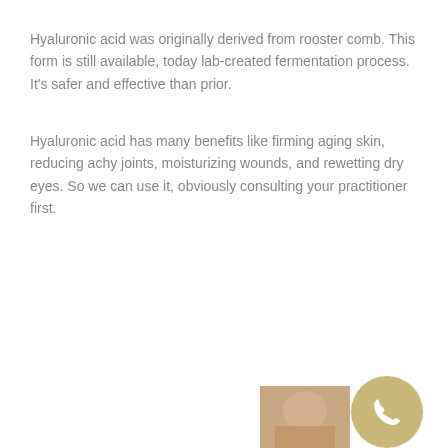Hyaluronic acid was originally derived from rooster comb. This form is still available, today lab-created fermentation process. It's safer and effective than prior.
Hyaluronic acid has many benefits like firming aging skin, reducing achy joints, moisturizing wounds, and rewetting dry eyes. So we can use it, obviously consulting your practitioner first.
TWITTER | Facebook icon | Instagram icon
Proud to have one on Mill Lane with beautiful